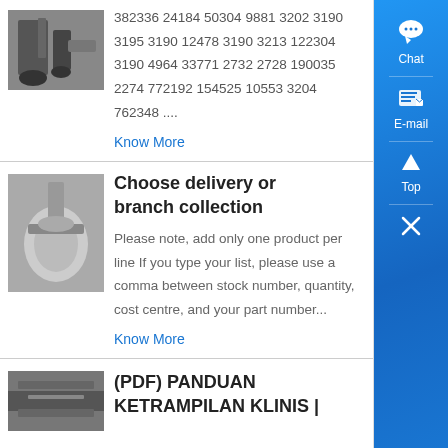[Figure (photo): Industrial/mining machinery photo at top left]
382336 24184 50304 9881 3202 3190 3195 3190 12478 3190 3213 122304 3190 4964 33771 2732 2728 190035 2274 772192 154525 10553 3204 762348 ....
Know More
[Figure (photo): Industrial machinery/equipment photo in second section]
Choose delivery or branch collection
Please note, add only one product per line If you type your list, please use a comma between stock number, quantity, cost centre, and your part number...
Know More
[Figure (photo): Industrial/conveyor belt photo at bottom left]
(PDF) PANDUAN KETRAMPILAN KLINIS |